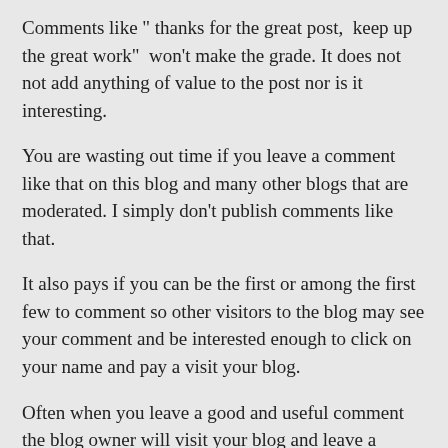Comments like “ thanks for the great post,  keep up the great work”  won't make the grade. It does not  not add anything of value to the post nor is it interesting.
You are wasting out time if you leave a comment like that on this blog and many other blogs that are moderated. I simply don't publish comments like that.
It also pays if you can be the first or among the first few to comment so other visitors to the blog may see your comment and be interested enough to click on your name and pay a visit your blog.
Often when you leave a good and useful comment the blog owner will visit your blog and leave a comment. It’s a sort of recipricol thing.
CommentLuv Premum Plugin
One of the best ways I’ve found of getting these recipricol comments is through the use of the CommentLuv Premium plugin. ( I thought I had written a post about this plugin but it